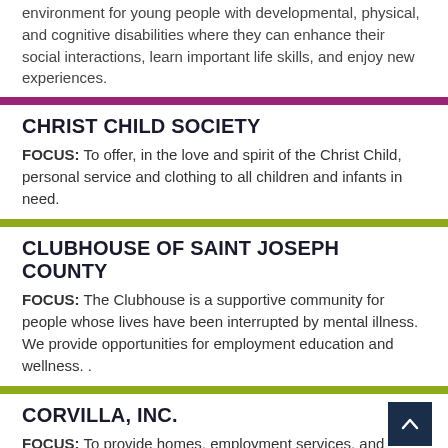environment for young people with developmental, physical, and cognitive disabilities where they can enhance their social interactions, learn important life skills, and enjoy new experiences.
CHRIST CHILD SOCIETY
FOCUS: To offer, in the love and spirit of the Christ Child, personal service and clothing to all children and infants in need.
CLUBHOUSE OF SAINT JOSEPH COUNTY
FOCUS: The Clubhouse is a supportive community for people whose lives have been interrupted by mental illness. We provide opportunities for employment education and wellness. .
CORVILLA, INC.
FOCUS: To provide homes, employment services, and educational and training programs for people with intellectual and developmental disabilities in St. Joseph and Elkhart Counties.
DEPAUL ACADEMY
FOCUS: Dedicated to improving the lives of youth.